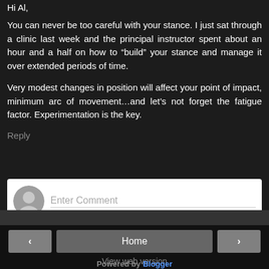Hi Al,
You can never be too careful with your stance. I just sat through a clinic last week and the principal instructor spent about an hour and a half on how to “build” your stance and manage it over extended periods of time.
Very modest changes in position will affect your point of impact, minimum arc of movement…and let’s not forget the fatigue factor. Experimentation is the key.
Reply
[Figure (screenshot): Comment input box with avatar icon and placeholder text 'Enter Comment']
< Home > View web version Powered by Blogger